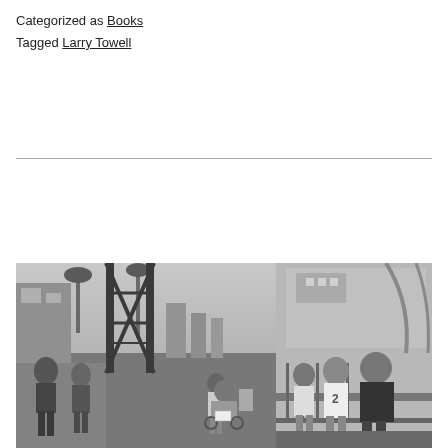Categorized as Books
Tagged Larry Towell
[Figure (photo): Black and white photograph showing a busy urban street scene with people walking. A person in a wheelchair holds a sign in the center. People wearing baseball jerseys are visible. Metal bridge or overpass structures frame the left portion. Palm trees and city buildings visible in background.]